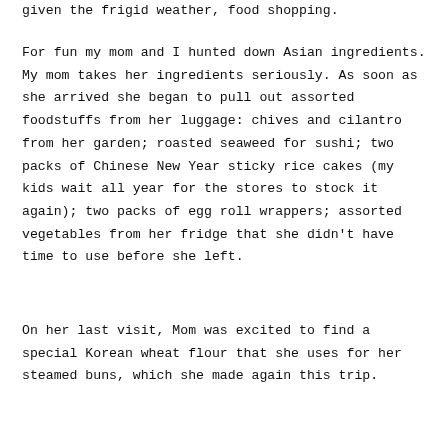given the frigid weather, food shopping.
For fun my mom and I hunted down Asian ingredients. My mom takes her ingredients seriously. As soon as she arrived she began to pull out assorted foodstuffs from her luggage: chives and cilantro from her garden; roasted seaweed for sushi; two packs of Chinese New Year sticky rice cakes (my kids wait all year for the stores to stock it again); two packs of egg roll wrappers; assorted vegetables from her fridge that she didn't have time to use before she left.
On her last visit, Mom was excited to find a special Korean wheat flour that she uses for her steamed buns, which she made again this trip.